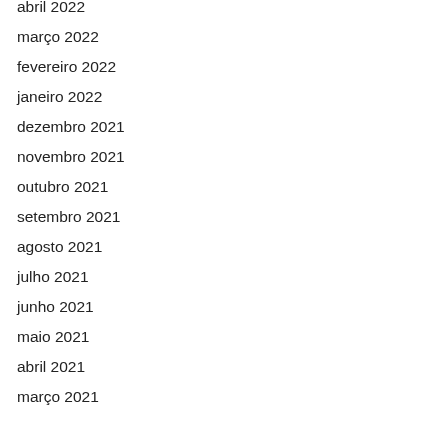abril 2022
março 2022
fevereiro 2022
janeiro 2022
dezembro 2021
novembro 2021
outubro 2021
setembro 2021
agosto 2021
julho 2021
junho 2021
maio 2021
abril 2021
março 2021